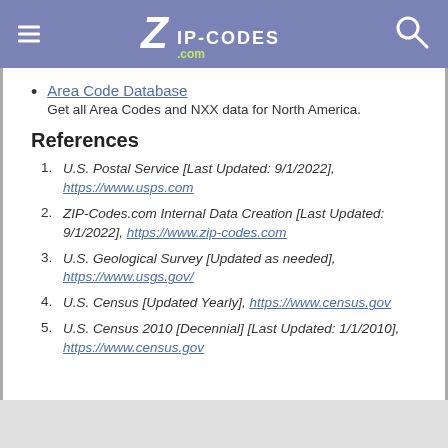ZIP-CODES.com
Area Code Database
Get all Area Codes and NXX data for North America.
References
1. U.S. Postal Service [Last Updated: 9/1/2022], https://www.usps.com
2. ZIP-Codes.com Internal Data Creation [Last Updated: 9/1/2022], https://www.zip-codes.com
3. U.S. Geological Survey [Updated as needed], https://www.usgs.gov/
4. U.S. Census [Updated Yearly], https://www.census.gov
5. U.S. Census 2010 [Decennial] [Last Updated: 1/1/2010], https://www.census.gov